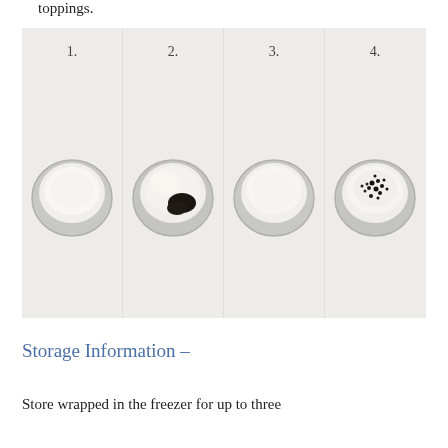toppings.
[Figure (photo): Four-panel step-by-step photo showing bowls: 1. bowl with white cream, 2. bowl with cream and dark topping being added, 3. bowl with swirled white cream, 4. bowl with white cream and dark sprinkles on top. Numbers 1. 2. 3. 4. label each panel.]
Storage Information –
Store wrapped in the freezer for up to three